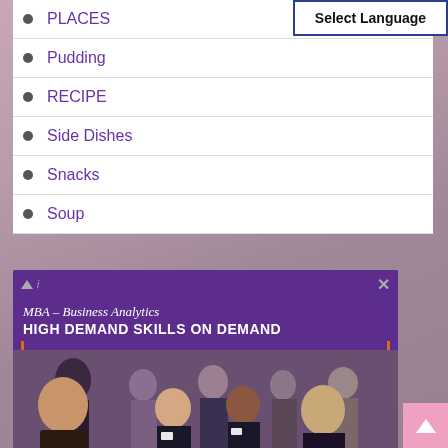Select Language
PLACES
Pudding
RECIPE
Side Dishes
Snacks
Soup
[Figure (photo): Advertisement banner for MBA – Business Analytics program with text 'HIGH DEMAND SKILLS ON DEMAND' over a photo of people at a networking event or business seminar, with orange border decoration]